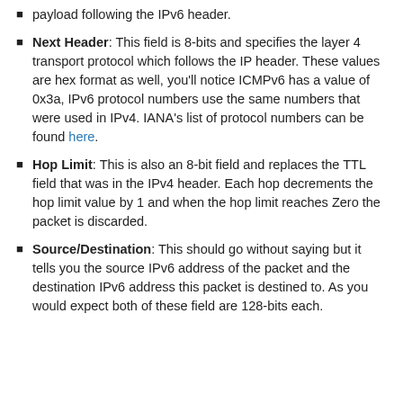payload following the IPv6 header.
Next Header: This field is 8-bits and specifies the layer 4 transport protocol which follows the IP header. These values are hex format as well, you'll notice ICMPv6 has a value of 0x3a, IPv6 protocol numbers use the same numbers that were used in IPv4. IANA's list of protocol numbers can be found here.
Hop Limit: This is also an 8-bit field and replaces the TTL field that was in the IPv4 header. Each hop decrements the hop limit value by 1 and when the hop limit reaches Zero the packet is discarded.
Source/Destination: This should go without saying but it tells you the source IPv6 address of the packet and the destination IPv6 address this packet is destined to. As you would expect both of these field are 128-bits each.